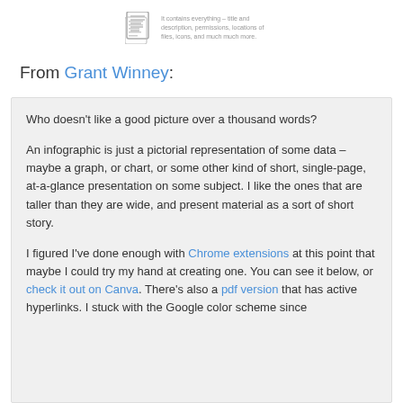[Figure (illustration): Small document/list icon with descriptive text beside it about containing titles, descriptions, permissions, locations of files, icons, and more]
From Grant Winney:
Who doesn't like a good picture over a thousand words?

An infographic is just a pictorial representation of some data – maybe a graph, or chart, or some other kind of short, single-page, at-a-glance presentation on some subject. I like the ones that are taller than they are wide, and present material as a sort of short story.

I figured I've done enough with Chrome extensions at this point that maybe I could try my hand at creating one. You can see it below, or check it out on Canva. There's also a pdf version that has active hyperlinks. I stuck with the Google color scheme since